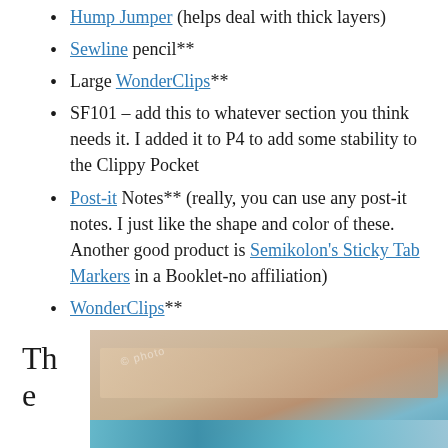Hump Jumper (helps deal with thick layers)
Sewline pencil**
Large WonderClips**
SF101 – add this to whatever section you think needs it. I added it to P4 to add some stability to the Clippy Pocket
Post-it Notes** (really, you can use any post-it notes. I just like the shape and color of these. Another good product is Semikolon's Sticky Tab Markers in a Booklet-no affiliation)
WonderClips**
The dir
[Figure (photo): Photo of sewing/craft materials, including fabric layers with a teal/blue strap or clip visible at the bottom]